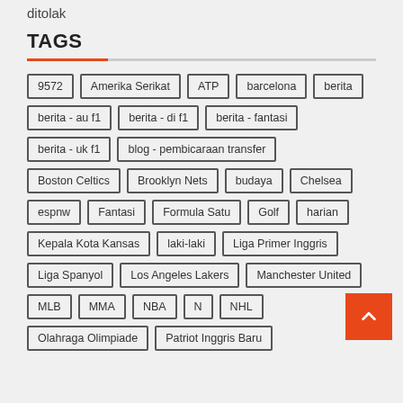ditolak
TAGS
9572
Amerika Serikat
ATP
barcelona
berita
berita - au f1
berita - di f1
berita - fantasi
berita - uk f1
blog - pembicaraan transfer
Boston Celtics
Brooklyn Nets
budaya
Chelsea
espnw
Fantasi
Formula Satu
Golf
harian
Kepala Kota Kansas
laki-laki
Liga Primer Inggris
Liga Spanyol
Los Angeles Lakers
Manchester United
MLB
MMA
NBA
NHL
Olahraga Olimpiade
Patriot Inggris Baru